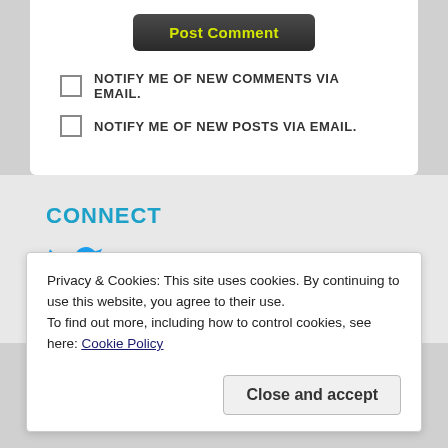Post Comment
NOTIFY ME OF NEW COMMENTS VIA EMAIL.
NOTIFY ME OF NEW POSTS VIA EMAIL.
CONNECT
[Figure (logo): Twitter bird logo icon in blue]
Privacy & Cookies: This site uses cookies. By continuing to use this website, you agree to their use.
To find out more, including how to control cookies, see here: Cookie Policy
Close and accept